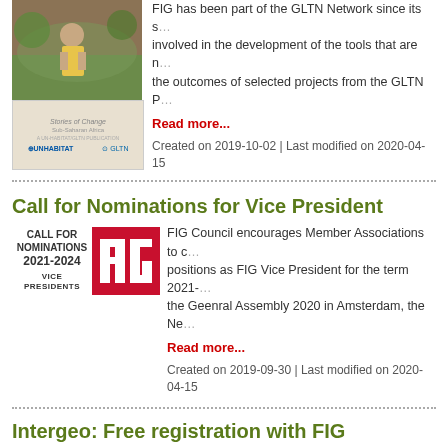[Figure (photo): Photo of a person (child/woman) in a field with crops, and below it a book cover titled 'Stories of Change' with UN-Habitat and GLTN logos]
FIG has been part of the GLTN Network since its s... involved in the development of the tools that are n... the outcomes of selected projects from the GLTN P...
Read more...
Created on 2019-10-02 | Last modified on 2020-04-15
Call for Nominations for Vice President
[Figure (logo): Call for Nominations 2021-2024 Vice Presidents document cover with FIG red logo showing vertical bars]
FIG Council encourages Member Associations to c... positions as FIG Vice President for the term 2021-... the Geenral Assembly 2020 in Amsterdam, the Ne...
Read more...
Created on 2019-09-30 | Last modified on 2020-04-15
Intergeo: Free registration with FIG